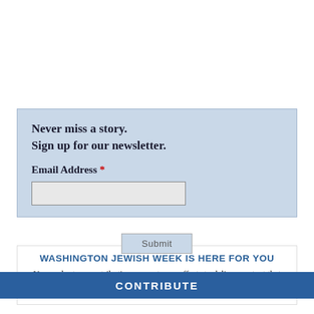Never miss a story.
Sign up for our newsletter.
Email Address *
WASHINGTON JEWISH WEEK IS HERE FOR YOU
Your voluntary contribution supports our efforts to deliver content that engages and helps strengthen the Jewish community in the DMV.
CONTRIBUTE